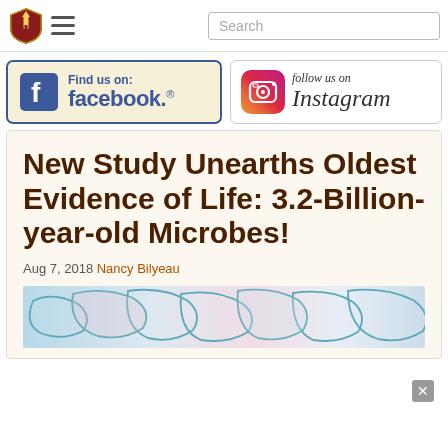Navigation header with shield logo, hamburger menu, and Search box
[Figure (logo): Find us on Facebook banner with blue Facebook logo and text on cream background with blue border]
[Figure (logo): Follow us on Instagram banner with Instagram camera icon and cursive Instagram text]
New Study Unearths Oldest Evidence of Life: 3.2-Billion-year-old Microbes!
Aug 7, 2018 Nancy Bilyeau
[Figure (photo): Microscope image showing colorful microbe structures in blue, pink and white tones]